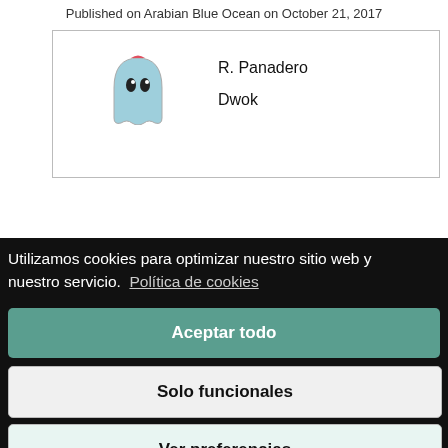Published on Arabian Blue Ocean on October 21, 2017
[Figure (screenshot): A card UI element showing a ghost mascot icon on the left and author name 'R. Panadero' and partial text 'Dwok' on the right, within a bordered rectangle.]
Utilizamos cookies para optimizar nuestro sitio web y nuestro servicio.  Política de cookies
Aceptar todo
Solo funcionales
Ver preferencias